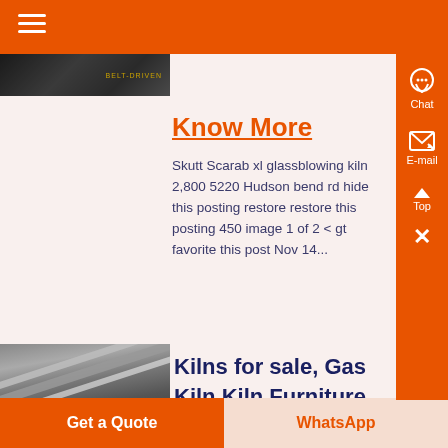Navigation menu header bar
[Figure (photo): Dark industrial image (partial, top of page) with yellow text overlay]
Know More
Skutt Scarab xl glassblowing kiln 2,800 5220 Hudson bend rd hide this posting restore restore this posting 450 image 1 of 2 < gt favorite this post Nov 14...
[Figure (photo): Black and white industrial photo showing pipeline infrastructure and excavated ground]
Kilns for sale, Gas Kiln Kiln Furniture,
Get a Quote  WhatsApp